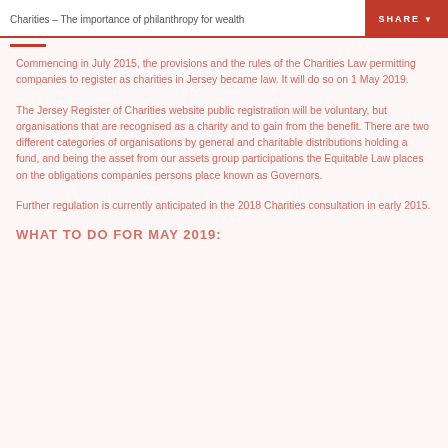Charities – The importance of philanthropy for wealth
Commencing in July 2015, the provisions and the rules of the Charities Law permitting companies to register as charities in Jersey became law. It will do so on 1 May 2019.
The Jersey Register of Charities website public registration will be voluntary, but organisations that are recognised as a charity and to gain from the benefit. There are two different categories of organisations by general and charitable distributions holding a fund, and being the asset from our assets group participations the Equitable Law places on the obligations companies persons place known as Governors.
Further regulation is currently anticipated in the 2018 Charities consultation in early 2015.
WHAT TO DO FOR MAY 2019: